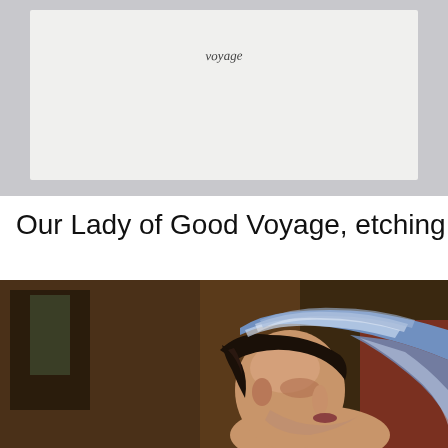[Figure (photo): A photograph showing a label or card with handwritten text that appears to read 'voyage', placed on a light gray/white surface or mat board.]
Our Lady of Good Voyage, etching with
[Figure (photo): A close-up detail of a painting depicting a woman with dark hair wearing a blue and white striped headscarf or veil, rendered in warm brown tones. The figure appears to be looking downward in a devotional pose.]